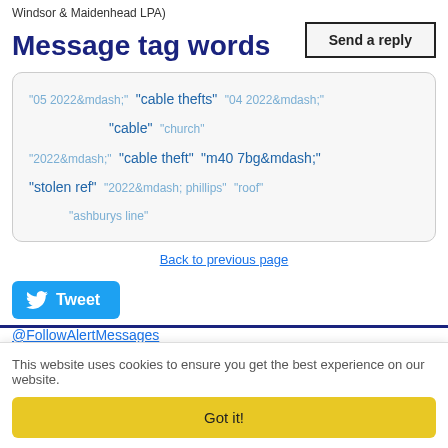Windsor & Maidenhead LPA)
Send a reply
Message tag words
"05 2022&mdash;" "cable thefts" "04 2022&mdash;" "cable" "church" "2022&mdash;" "cable theft" "m40 7bg&mdash;" "stolen ref" "2022&mdash; phillips" "roof" "ashburys line"
Back to previous page
Tweet
@FollowAlertMessages
This website uses cookies to ensure you get the best experience on our website.
Got it!